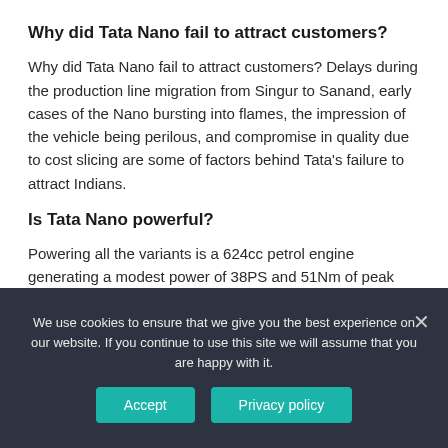Why did Tata Nano fail to attract customers?
Why did Tata Nano fail to attract customers? Delays during the production line migration from Singur to Sanand, early cases of the Nano bursting into flames, the impression of the vehicle being perilous, and compromise in quality due to cost slicing are some of factors behind Tata’s failure to attract Indians.
Is Tata Nano powerful?
Powering all the variants is a 624cc petrol engine generating a modest power of 38PS and 51Nm of peak torque. This engine comes paired with either a 5-speed manual or a 5-speed automated manual (AMT) gearbox.
We use cookies to ensure that we give you the best experience on our website. If you continue to use this site we will assume that you are happy with it.